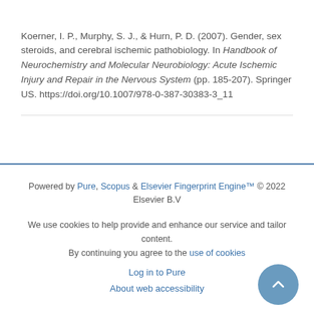Koerner, I. P., Murphy, S. J., & Hurn, P. D. (2007). Gender, sex steroids, and cerebral ischemic pathobiology. In Handbook of Neurochemistry and Molecular Neurobiology: Acute Ischemic Injury and Repair in the Nervous System (pp. 185-207). Springer US. https://doi.org/10.1007/978-0-387-30383-3_11
Powered by Pure, Scopus & Elsevier Fingerprint Engine™ © 2022 Elsevier B.V
We use cookies to help provide and enhance our service and tailor content. By continuing you agree to the use of cookies
Log in to Pure
About web accessibility